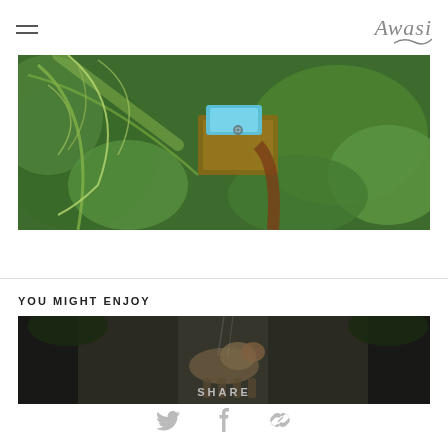Awasi
[Figure (photo): Aerial view of a wooden structure with a blue pool surrounded by dense green tropical foliage, viewed from directly above.]
YOU MIGHT ENJOY
[Figure (photo): Dark, moody photo of a large animal (possibly a big cat or similar wildlife) standing in a forested path or waterfall setting.]
SHARE